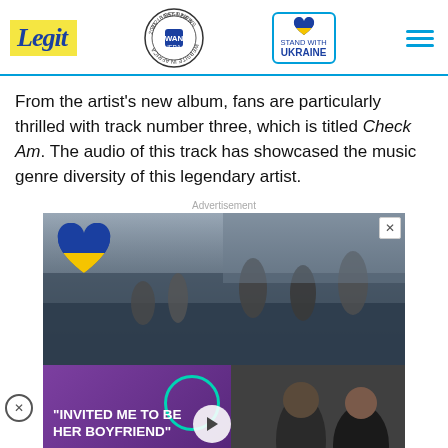Legit | WAN IFRA 2021 Best News Website in Africa | Stand with Ukraine
From the artist's new album, fans are particularly thrilled with track number three, which is titled Check Am. The audio of this track has showcased the music genre diversity of this legendary artist.
[Figure (screenshot): Advertisement banner showing Ukraine-related imagery with a Ukraine flag heart, people evacuating a destroyed bridge, a video panel with text 'INVITED ME TO BE HER BOYFRIEND' overlay, a chevron/scroll button, and a bottom strip ad saying 'Help Protect Ukrainian Families' with a DONATE NOW button]